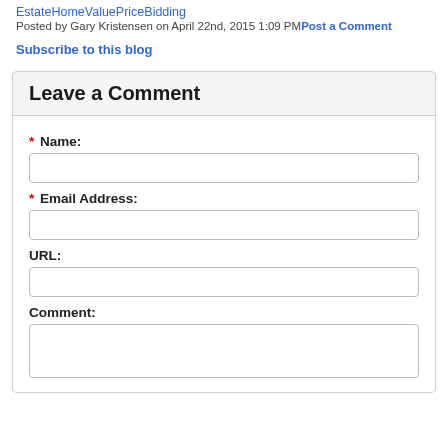EstateHomeValuePriceBidding
Posted by Gary Kristensen on April 22nd, 2015 1:09 PM  Post a Comment
Subscribe to this blog
Leave a Comment
* Name:
* Email Address:
URL:
Comment: